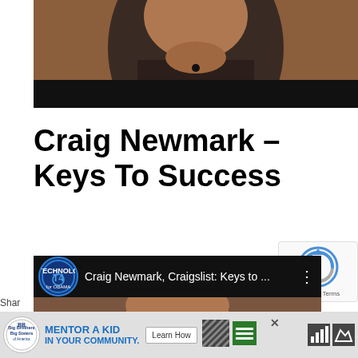[Figure (photo): Close-up photo of a man in a dark shirt, partially cropped, with a black lower band]
Craig Newmark – Keys To Success
[Figure (screenshot): YouTube video thumbnail showing 'Craig Newmark, Craigslist: Keys to ...' with T4 for Obama logo and three-dot menu]
[Figure (photo): Preview frame of Craig Newmark video showing top of man's head]
[Figure (screenshot): reCAPTCHA badge with Privacy and Terms links]
[Figure (other): Advertisement bar: Big Brothers Big Sisters - Mentor a Kid in Your Community with Learn How button and close X button]